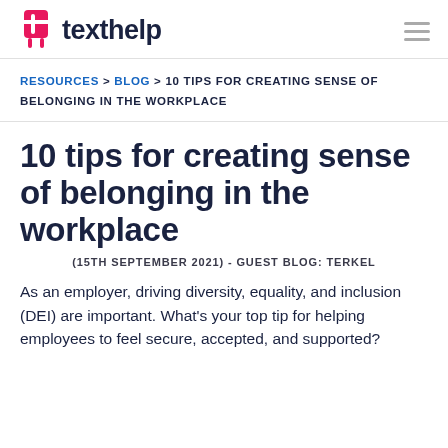texthelp
RESOURCES > BLOG > 10 TIPS FOR CREATING SENSE OF BELONGING IN THE WORKPLACE
10 tips for creating sense of belonging in the workplace
(15TH SEPTEMBER 2021) - GUEST BLOG: TERKEL
As an employer, driving diversity, equality, and inclusion (DEI) are important. What's your top tip for helping employees to feel secure, accepted, and supported?